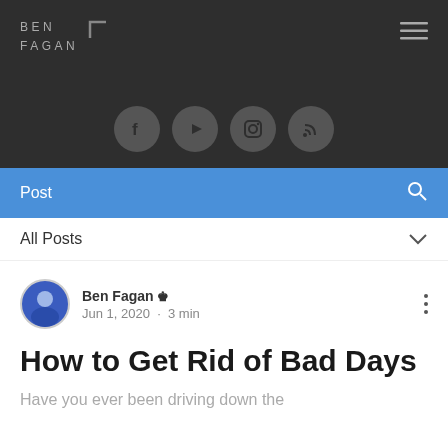BEN FAGAN
[Figure (screenshot): Social media icons: Facebook, YouTube, Instagram, RSS feed — circular grey buttons on dark background]
Post
All Posts
Ben Fagan · Jun 1, 2020 · 3 min
How to Get Rid of Bad Days
Have you ever been driving down the